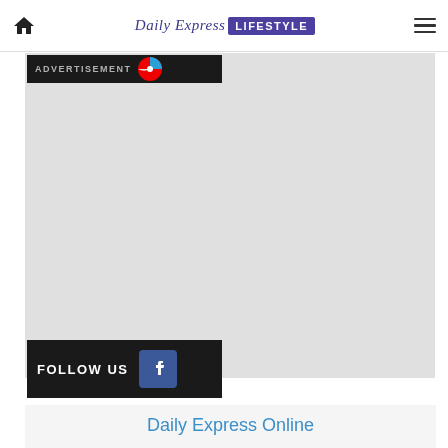Daily Express LIFESTYLE
[Figure (other): Advertisement banner with dark background and circular logo]
[Figure (other): Large gray advertisement/content area placeholder]
[Figure (other): FOLLOW US Facebook button bar with dark background and Facebook icon]
Daily Express Online